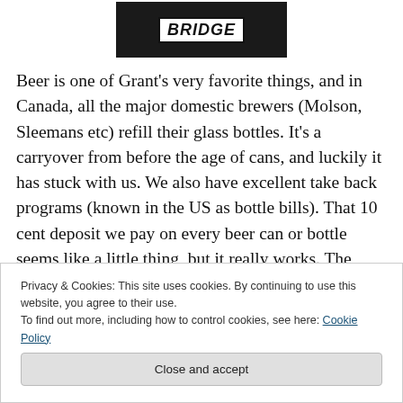[Figure (photo): A dark beer glass/bottle with a white label reading 'BRIDGE' in bold italic letters]
Beer is one of Grant's very favorite things, and in Canada, all the major domestic brewers (Molson, Sleemans etc) refill their glass bottles. It's a carryover from before the age of cans, and luckily it has stuck with us. We also have excellent take back programs (known in the US as bottle bills). That 10 cent deposit we pay on every beer can or bottle seems like a little thing, but it really works. The National Brewers Association reports that Canadian...
Privacy & Cookies: This site uses cookies. By continuing to use this website, you agree to their use.
To find out more, including how to control cookies, see here: Cookie Policy
Close and accept